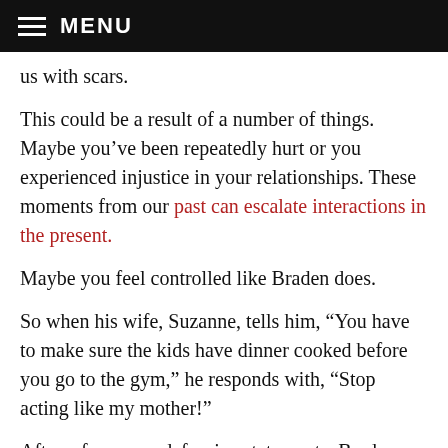MENU
us with scars.
This could be a result of a number of things. Maybe you've been repeatedly hurt or you experienced injustice in your relationships. These moments from our past can escalate interactions in the present.
Maybe you feel controlled like Braden does.
So when his wife, Suzanne, tells him, “You have to make sure the kids have dinner cooked before you go to the gym,” he responds with, “Stop acting like my mother!”
After a few more defensive statements, Braden shuts down.